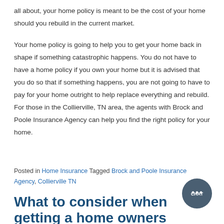all about, your home policy is meant to be the cost of your home should you rebuild in the current market.
Your home policy is going to help you to get your home back in shape if something catastrophic happens. You do not have to have a home policy if you own your home but it is advised that you do so that if something happens, you are not going to have to pay for your home outright to help replace everything and rebuild. For those in the Collierville, TN area, the agents with Brock and Poole Insurance Agency can help you find the right policy for your home.
Posted in Home Insurance Tagged Brock and Poole Insurance Agency, Collierville TN
What to consider when getting a home owners